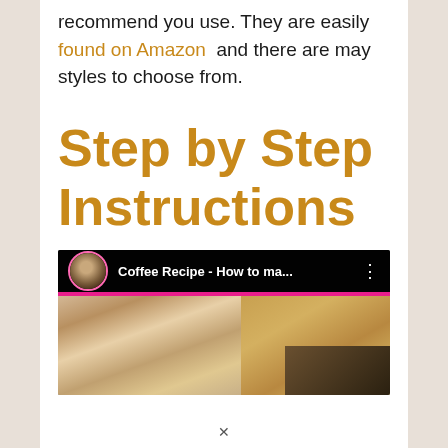recommend you use. They are easily found on Amazon and there are may styles to choose from.
Step by Step Instructions
[Figure (screenshot): YouTube video thumbnail showing a woman's face with title 'Coffee Recipe - How to ma...' and a pink progress bar below the top bar.]